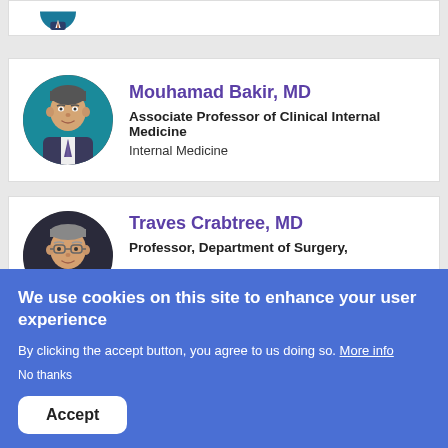[Figure (photo): Partial view of a doctor profile photo (circular avatar, cropped at top)]
Mouhamad Bakir, MD
Associate Professor of Clinical Internal Medicine
Internal Medicine
[Figure (photo): Circular profile photo of Traves Crabtree, MD — older male with glasses and grey hair]
Traves Crabtree, MD
Professor, Department of Surgery,
We use cookies on this site to enhance your user experience
By clicking the accept button, you agree to us doing so. More info
No thanks
Accept